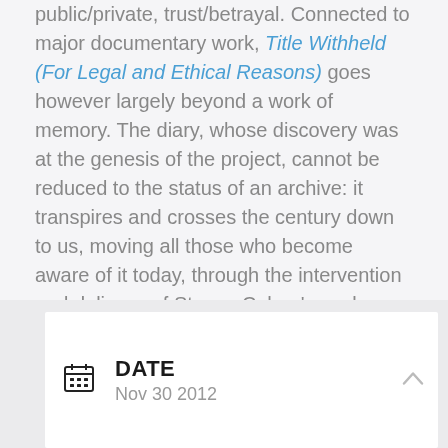public/private, trust/betrayal. Connected to major documentary work, Title Withheld (For Legal and Ethical Reasons) goes however largely beyond a work of memory. The diary, whose discovery was at the genesis of the project, cannot be reduced to the status of an archive: it transpires and crosses the century down to us, moving all those who become aware of it today, through the intervention and delicacy of Steven Cohen's work.
RB
| DATE |
| --- |
| Nov 30 2012 |